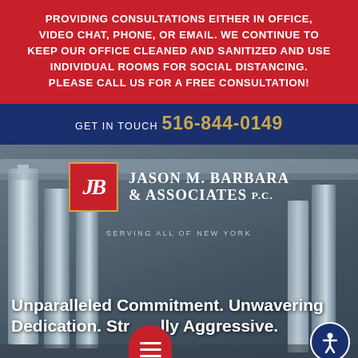providing consultations either In office, video chat, phone, or email. We continue to keep our office cleaned and Sanitized and use individual rooms for social distancing. Please call us for a free consultation!
Get In Touch 516-844-0149
[Figure (photo): Law firm website screenshot showing Jason M. Barbara & Associates P.C. logo over a courthouse columns background photo, with tagline 'Unparalleled Commitment. Unwavering Dedication. Str...lly Aggressive.']